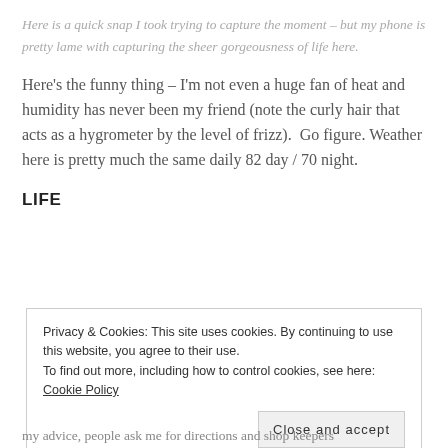Here is a quick snap I took trying to capture the moment – but my phone is pretty lame with capturing the sheer gorgeousness of life here.
Here's the funny thing – I'm not even a huge fan of heat and humidity has never been my friend (note the curly hair that acts as a hygrometer by the level of frizz).  Go figure.  Weather here is pretty much the same daily 82 day / 70 night.
LIFE
Privacy & Cookies: This site uses cookies. By continuing to use this website, you agree to their use.
To find out more, including how to control cookies, see here: Cookie Policy
my advice, people ask me for directions and shop keepers